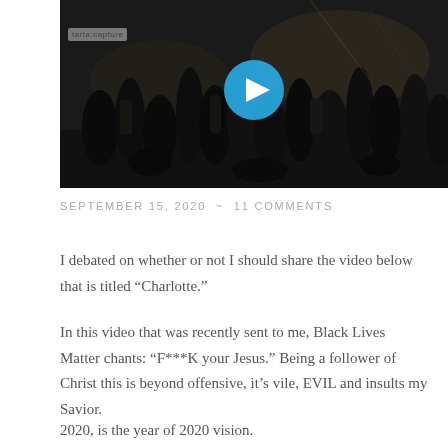[Figure (screenshot): Video thumbnail showing a nighttime crowd/protest scene with a blue play button overlay. A watermark label reading 'tarta:capture' appears in the upper left of the video frame.]
SEPTEMBER 15, 2020 ~ 11 COMMENTS
I debated on whether or not I should share the video below that is titled “Charlotte.”
In this video that was recently sent to me, Black Lives Matter chants: “F***K your Jesus.” Being a follower of Christ this is beyond offensive, it’s vile, EVIL and insults my Savior.
2020, is the year of 2020 vision.